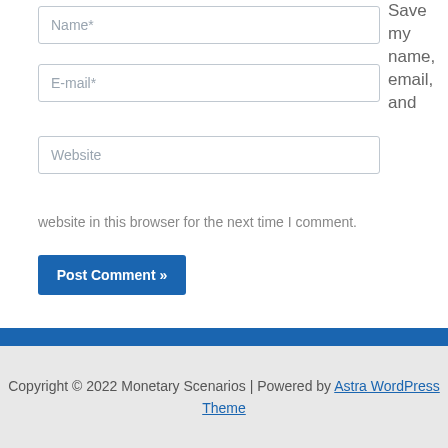Name*
E-mail*
Website
Save my name, email, and
website in this browser for the next time I comment.
Post Comment »
Copyright © 2022 Monetary Scenarios | Powered by Astra WordPress Theme